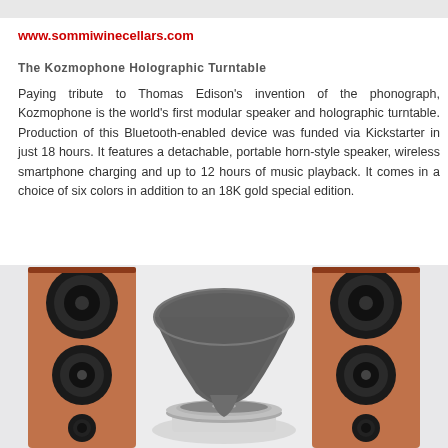www.sommiwinecellars.com
The Kozmophone Holographic Turntable
Paying tribute to Thomas Edison's invention of the phonograph, Kozmophone is the world's first modular speaker and holographic turntable. Production of this Bluetooth-enabled device was funded via Kickstarter in just 18 hours. It features a detachable, portable horn-style speaker, wireless smartphone charging and up to 12 hours of music playback. It comes in a choice of six colors in addition to an 18K gold special edition.
[Figure (photo): Photo of the Kozmophone holographic turntable with a large black horn-style speaker in the center on a white turntable base, flanked on both sides by tall wooden floor-standing speakers with black drivers.]